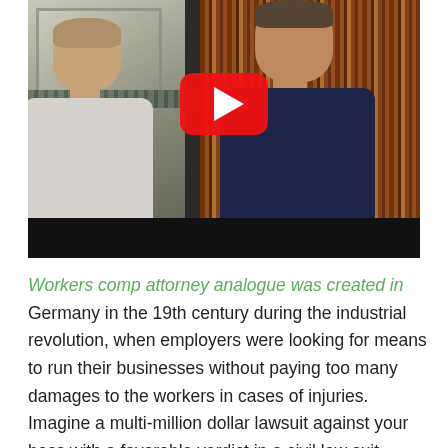[Figure (photo): Screenshot of a YouTube video thumbnail showing two men sitting and talking in a room with bookshelves in the background. A red YouTube play button is overlaid in the center. There is a black progress bar at the bottom.]
Workers comp attorney analogue was created in Germany in the 19th century during the industrial revolution, when employers were looking for means to run their businesses without paying too many damages to the workers in cases of injuries. Imagine a multi-million dollar lawsuit against your boss with a favorable verdict in a civil law suit multiplied by 5